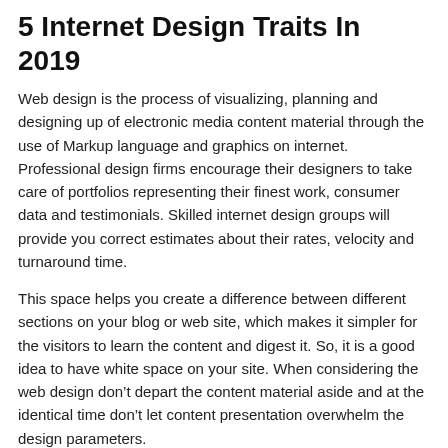5 Internet Design Traits In 2019
Web design is the process of visualizing, planning and designing up of electronic media content material through the use of Markup language and graphics on internet. Professional design firms encourage their designers to take care of portfolios representing their finest work, consumer data and testimonials. Skilled internet design groups will provide you correct estimates about their rates, velocity and turnaround time.
This space helps you create a difference between different sections on your blog or web site, which makes it simpler for the visitors to learn the content and digest it. So, it is a good idea to have white space on your site. When considering the web design don’t depart the content material aside and at the identical time don’t let content presentation overwhelm the design parameters.